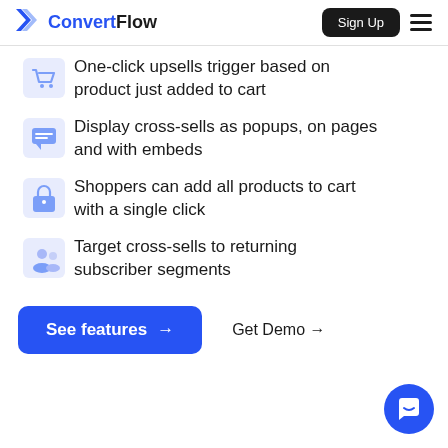ConvertFlow | Sign Up
One-click upsells trigger based on product just added to cart
Display cross-sells as popups, on pages and with embeds
Shoppers can add all products to cart with a single click
Target cross-sells to returning subscriber segments
See features → | Get Demo →